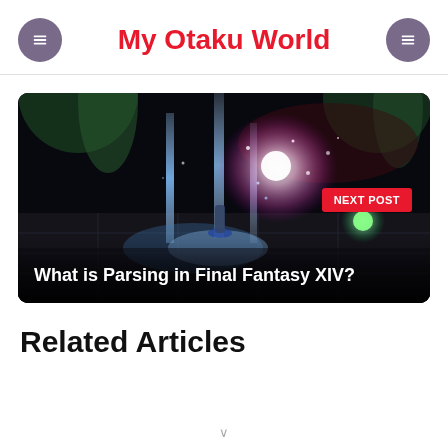My Otaku World
[Figure (screenshot): Dark fantasy game scene with glowing blue light beams and magical particle effects on a stone floor, showing combat in Final Fantasy XIV. Has a red 'NEXT POST' badge and white text overlay reading 'What is Parsing in Final Fantasy XIV?']
Related Articles